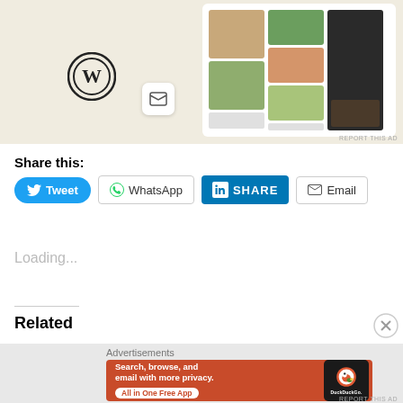[Figure (screenshot): Top advertisement banner showing WordPress logo, inbox icon, and food menu card photos on a beige background. 'REPORT THIS AD' text bottom right.]
Share this:
[Figure (screenshot): Share buttons row: Tweet (blue), WhatsApp (outline), in SHARE (LinkedIn blue), Email (outline)]
Loading...
Related
[Figure (screenshot): DuckDuckGo advertisement: orange background with text 'Search, browse, and email with more privacy. All in One Free App' and phone graphic with DuckDuckGo logo. 'Advertisements' label above. Close X button top right.]